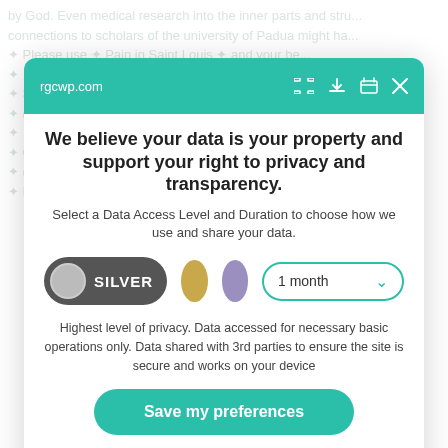by God. Even medical research into the inner parts and stru connections to scholars of the university of Padua might ha ✦ Please use ✦ Saint Louis ✦ (08.02.2018) – At Saint Knot University, Missouri ✦ Control, City Museum and Art Gallery ✦ Ready (08.02 ✦ (08.02...) ✦ In the...
rgcwp.com
We believe your data is your property and support your right to privacy and transparency.
Select a Data Access Level and Duration to choose how we use and share your data.
[Figure (infographic): Privacy level selector row showing: SILVER toggle pill (dark grey with grey circle), gold circle, purple circle, and '1 month' dropdown with teal border and arrow.]
Highest level of privacy. Data accessed for necessary basic operations only. Data shared with 3rd parties to ensure the site is secure and works on your device
Save my preferences
Customize   Privacy policy